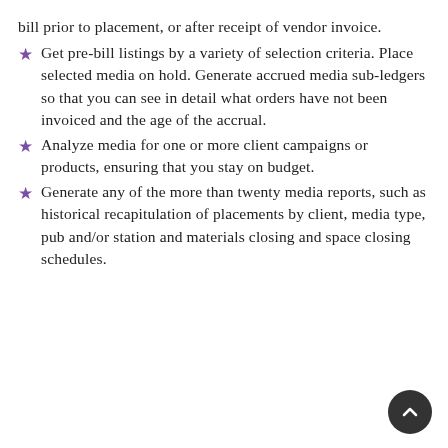bill prior to placement, or after receipt of vendor invoice.
Get pre-bill listings by a variety of selection criteria. Place selected media on hold. Generate accrued media sub-ledgers so that you can see in detail what orders have not been invoiced and the age of the accrual.
Analyze media for one or more client campaigns or products, ensuring that you stay on budget.
Generate any of the more than twenty media reports, such as historical recapitulation of placements by client, media type, pub and/or station and materials closing and space closing schedules.